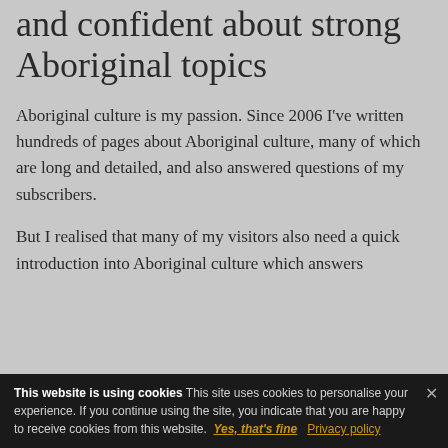and confident about strong Aboriginal topics
Aboriginal culture is my passion. Since 2006 I've written hundreds of pages about Aboriginal culture, many of which are long and detailed, and also answered questions of my subscribers.
But I realised that many of my visitors also need a quick introduction into Aboriginal culture which answers
This website is using cookies This site uses cookies to personalise your experience. If you continue using the site, you indicate that you are happy to receive cookies from this website. Yes, that's fine Privacy policy